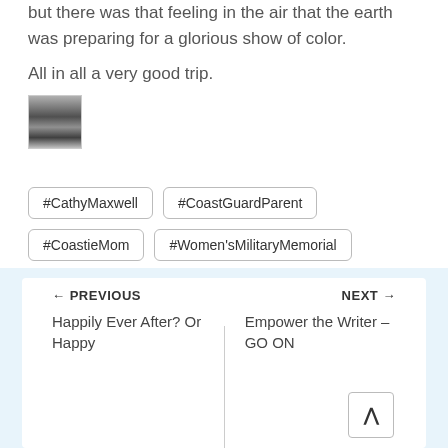but there was that feeling in the air that the earth was preparing for a glorious show of color.
All in all a very good trip.
[Figure (photo): Small thumbnail image, appears to be a grayscale/black and white photo]
#CathyMaxwell
#CoastGuardParent
#CoastieMom
#Women'sMilitaryMemorial
← PREVIOUS   Happily Ever After? Or Happy   |   NEXT →   Empower the Writer – GO ON